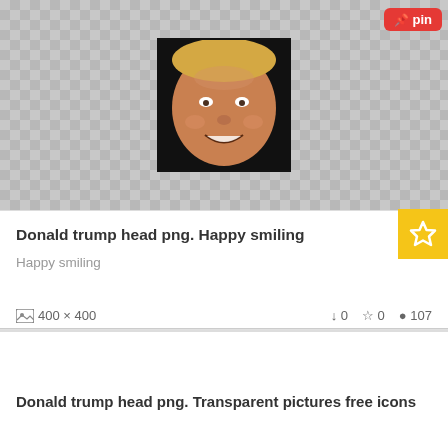[Figure (photo): Donald Trump smiling face PNG on transparent/checker background, framed in black square]
Donald trump head png. Happy smiling
Happy smiling
400 x 400   ↓ 0   ☆ 0   ● 107
[Figure (photo): Donald Trump grimacing face PNG on transparent/checker background, framed in black square with blue outline glow]
Donald trump head png. Transparent pictures free icons